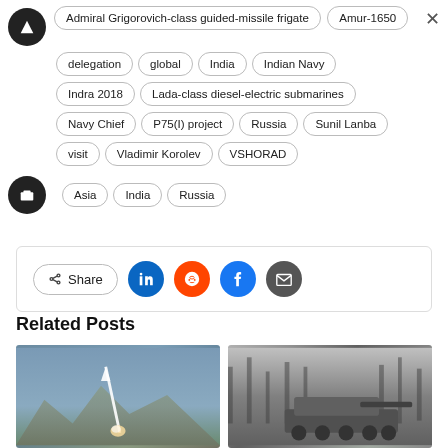Admiral Grigorovich-class guided-missile frigate   Amur-1650
delegation   global   India   Indian Navy
Indra 2018   Lada-class diesel-electric submarines
Navy Chief   P75(I) project   Russia   Sunil Lanba
visit   Vladimir Korolev   VSHORAD
Asia   India   Russia
Share
Related Posts
[Figure (photo): Missile launch photo]
[Figure (photo): Military tank/vehicle photo]